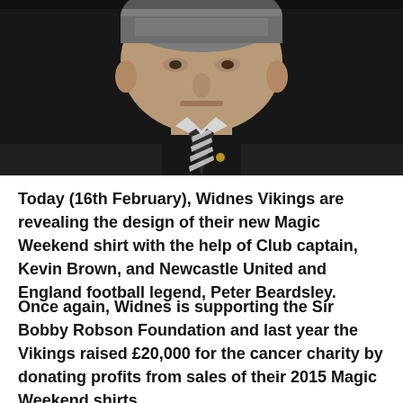[Figure (photo): Close-up photo of an older man in a dark suit and black-and-white striped tie, looking slightly to the side. The image is cropped to show head and upper chest only.]
Today (16th February), Widnes Vikings are revealing the design of their new Magic Weekend shirt with the help of Club captain, Kevin Brown, and Newcastle United and England football legend, Peter Beardsley.
Once again, Widnes is supporting the Sir Bobby Robson Foundation and last year the Vikings raised £20,000 for the cancer charity by donating profits from sales of their 2015 Magic Weekend shirts.
This year every £10 donation to the Sir Bobby Robson Foundation made through the Vikings' 'Tackling